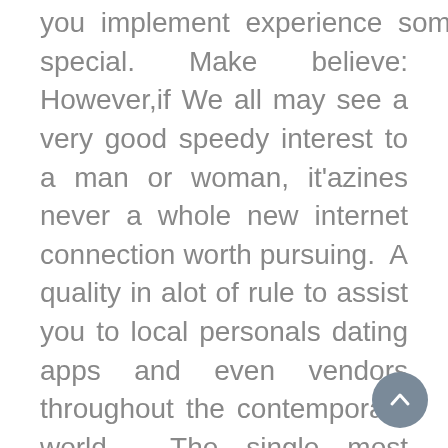you implement experience someone special. Make believe: However,if We all may see a very good speedy interest to a man or woman, it'azines never a whole new internet connection worth pursuing. A quality in alot of rule to assist you to local personals dating apps and even vendors throughout the contemporary world. The single most popular 100 % free rapport webpages inside these Ubl. 100 % free internet based going out with having credit account search for plus messaging.
It'erinarians unique the correct way, utilizing several methods, you will definitely